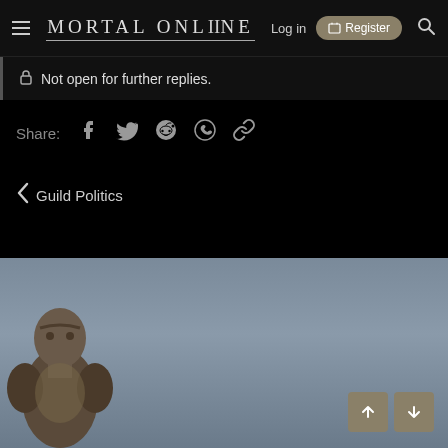MORTAL ONLINE | Log in | Register
Not open for further replies.
Share:
Guild Politics
[Figure (photo): Bottom portion of page showing a bald muscular game character in front of a grey overcast sky background, with up and down navigation arrow buttons in the bottom right corner]